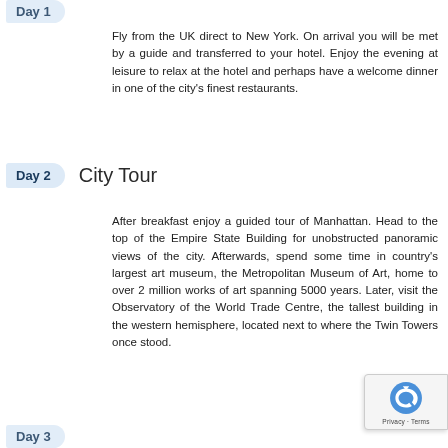Fly from the UK direct to New York. On arrival you will be met by a guide and transferred to your hotel. Enjoy the evening at leisure to relax at the hotel and perhaps have a welcome dinner in one of the city's finest restaurants.
Day 2  City Tour
After breakfast enjoy a guided tour of Manhattan. Head to the top of the Empire State Building for unobstructed panoramic views of the city. Afterwards, spend some time in country's largest art museum, the Metropolitan Museum of Art, home to over 2 million works of art spanning 5000 years. Later, visit the Observatory of the World Trade Centre, the tallest building in the western hemisphere, located next to where the Twin Towers once stood.